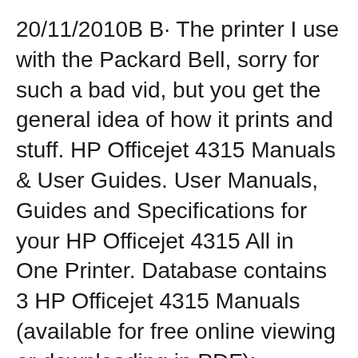20/11/2010В В· The printer I use with the Packard Bell, sorry for such a bad vid, but you get the general idea of how it prints and stuff. HP Officejet 4315 Manuals & User Guides. User Manuals, Guides and Specifications for your HP Officejet 4315 All in One Printer. Database contains 3 HP Officejet 4315 Manuals (available for free online viewing or downloading in PDF): Operation & userвЂ™s manual, Start here manual .
HP Officejet 4300 All-in-One series User Guide. 2 вЂў HP All-in-One 5 4 Unfold paper trays Attach the control panel faceplate (if not attached) IMPORTANT: Make sure that all edges are even with